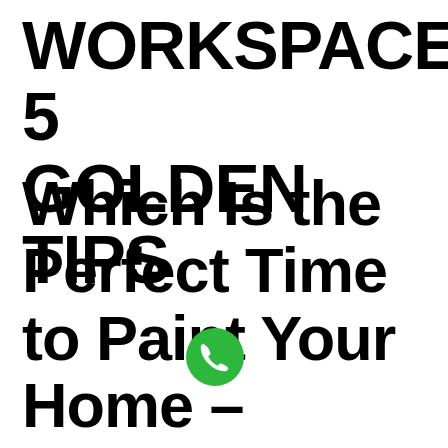WORKSPACE: 5 GOLDEN TIPS
Which Is the Perfect Time to Paint Your Home – Before or After You Move In?
[Figure (infographic): Green circular phone/call button icon overlaid on the text]